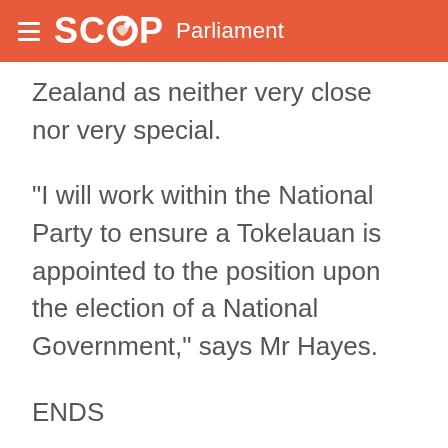SCOOP Parliament
Zealand as neither very close nor very special.
"I will work within the National Party to ensure a Tokelauan is appointed to the position upon the election of a National Government," says Mr Hayes.
ENDS